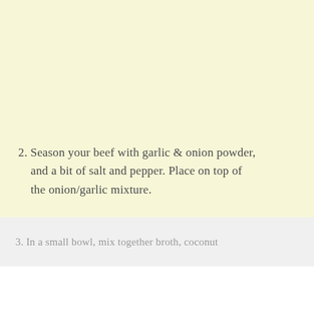☰ f 𝕥 𝗽 Instagram 🔍
[Figure (other): Large cream/yellow advertisement or image block]
2. Season your beef with garlic & onion powder, and a bit of salt and pepper. Place on top of the onion/garlic mixture.
3. In a small bowl, mix together broth, coconut